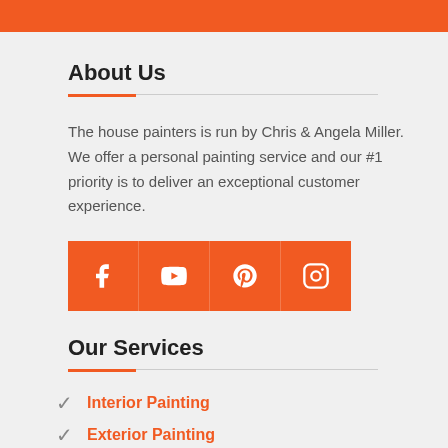About Us
The house painters is run by Chris & Angela Miller. We offer a personal painting service and our #1 priority is to deliver an exceptional customer experience.
[Figure (other): Row of four orange social media icon buttons: Facebook, YouTube, Pinterest, Instagram]
Our Services
Interior Painting
Exterior Painting